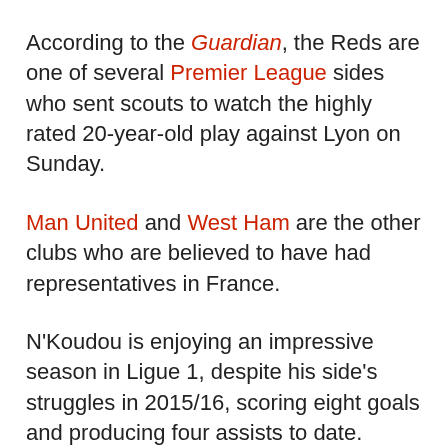According to the Guardian, the Reds are one of several Premier League sides who sent scouts to watch the highly rated 20-year-old play against Lyon on Sunday.
Man United and West Ham are the other clubs who are believed to have had representatives in France.
N'Koudou is enjoying an impressive season in Ligue 1, despite his side's struggles in 2015/16, scoring eight goals and producing four assists to date.
The France Under-21 international is already